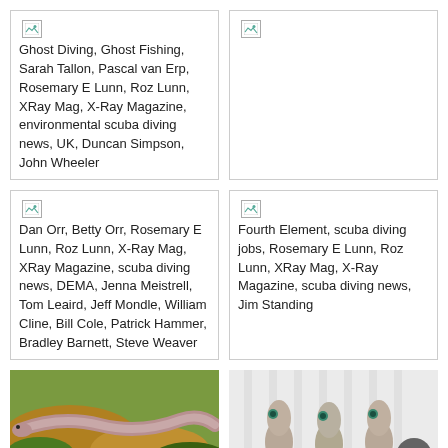[Figure (other): Card with broken image icon and text: Ghost Diving, Ghost Fishing, Sarah Tallon, Pascal van Erp, Rosemary E Lunn, Roz Lunn, XRay Mag, X-Ray Magazine, environmental scuba diving news, UK, Duncan Simpson, John Wheeler]
[Figure (other): Card with broken image icon, large empty white area below]
[Figure (other): Card with broken image icon and text: Dan Orr, Betty Orr, Rosemary E Lunn, Roz Lunn, X-Ray Mag, XRay Magazine, scuba diving news, DEMA, Jenna Meistrell, Tom Leaird, Jeff Mondle, William Cline, Bill Cole, Patrick Hammer, Bradley Barnett, Steve Weaver]
[Figure (other): Card with broken image icon and text: Fourth Element, scuba diving jobs, Rosemary E Lunn, Roz Lunn, XRay Mag, X-Ray Magazine, scuba diving news, Jim Standing]
[Figure (photo): Photo of an eel or fish on rocks with green algae and yellow/brown substrate]
[Figure (photo): Photo of three small fish with blue-green eyes on white background, with a dark circular back button overlay]